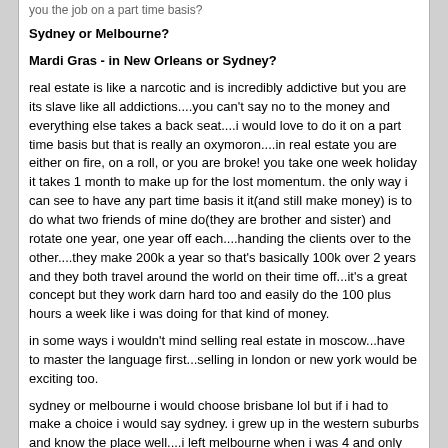you the job on a part time basis?
Sydney or Melbourne?
Mardi Gras - in New Orleans or Sydney?
real estate is like a narcotic and is incredibly addictive but you are its slave like all addictions....you can't say no to the money and everything else takes a back seat....i would love to do it on a part time basis but that is really an oxymoron....in real estate you are either on fire, on a roll, or you are broke! you take one week holiday it takes 1 month to make up for the lost momentum. the only way i can see to have any part time basis it it(and still make money) is to do what two friends of mine do(they are brother and sister) and rotate one year, one year off each....handing the clients over to the other....they make 200k a year so that's basically 100k over 2 years and they both travel around the world on their time off...it's a great concept but they work darn hard too and easily do the 100 plus hours a week like i was doing for that kind of money.
in some ways i wouldn't mind selling real estate in moscow...have to master the language first...selling in london or new york would be exciting too.
sydney or melbourne i would choose brisbane lol but if i had to make a choice i would say sydney. i grew up in the western suburbs and know the place well....i left melbourne when i was 4 and only came back for navy training etc. still melbourne has more culture than sydney and better shopping-but the weather is awful(4 seasons in one day as they say) and the big money is in sydney too.
Mardis Gras i would say neither-, i would pick Rio de Janeiro ...would love to see it but new orleans would be interesting too....i have driven down oxford street after the gay Mardi Gras (the next day) and it is not a pretty sight! drunken cross dressers missing half their clothes etc. lol
yakspeare — 08-07-2010, 05:55
Boxers, briefs, tighty whities, or a g-string? which do you perfer to wear?)
i don't mind wearing boxers around the house but hate wearing them out